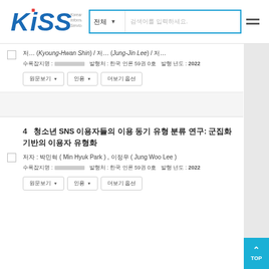[Figure (logo): KISS - Koreanstudies Information Service System logo with blue stylized letters and search bar]
저자 : (Kyoung-Hwan Shin) / 저자 (Jung-Jin Lee) / ...
수록잡지명 : 한국언론학보     발행처 : 한국 언론 59권 0호     발행 년도 : 2022
4  청소년 SNS 이용자들의 이용 동기 유형 분류 연구: 군집화 기반의 이용자 유형화
저자 : 박민혁 ( Min Hyuk Park ) , 이정우 ( Jung Woo Lee )
수록잡지명 : 한국언론학보     발행처 : 한국 언론 59권 0호     발행 년도 : 2022